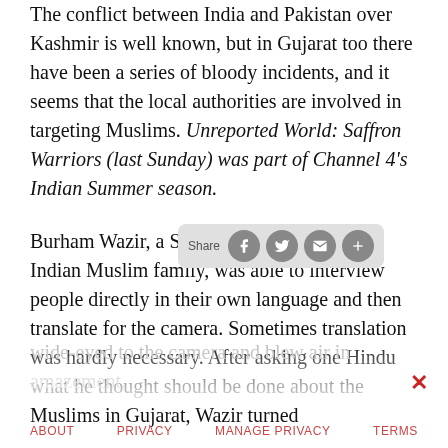The conflict between India and Pakistan over Kashmir is well known, but in Gujarat too there have been a series of bloody incidents, and it seems that the local authorities are involved in targeting Muslims. Unreported World: Saffron Warriors (last Sunday) was part of Channel 4's Indian Summer season.
Burham Wazir, a Scottish reporter from an Indian Muslim family, was able to interview people directly in their own language and then translate for the camera. Sometimes translation was hardly necessary. After asking one Hindu what he thought should be done about the Muslims in Gujarat, Wazir turned
wide-eyed to the camera and blew air in amazement,
ABOUT   PRIVACY   MANAGE PRIVACY   TERMS